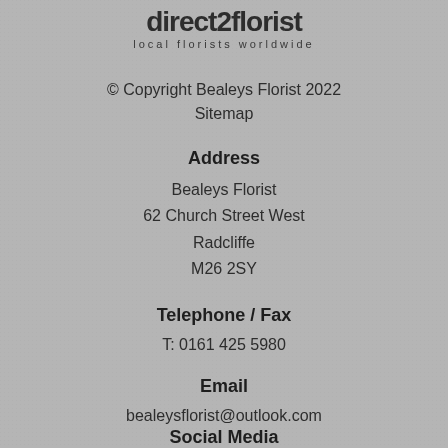[Figure (logo): direct2florist logo with tagline 'local florists worldwide']
© Copyright Bealeys Florist 2022
Sitemap
Address
Bealeys Florist
62 Church Street West
Radcliffe
M26 2SY
Telephone / Fax
T: 0161 425 5980
Email
bealeysflorist@outlook.com
Social Media